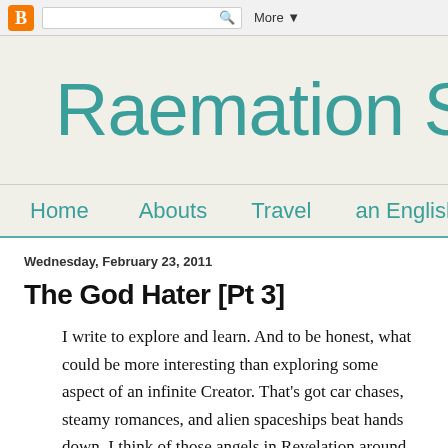Blogger navigation bar with search and More button
Raemation St
Home    Abouts    Travel    an English C
Wednesday, February 23, 2011
The God Hater [Pt 3]
I write to explore and learn. And to be honest, what could be more interesting than exploring some aspect of an infinite Creator. That's got car chases, steamy romances, and alien spaceships beat hands down. I think of those angels in Revelation around the throne crying,